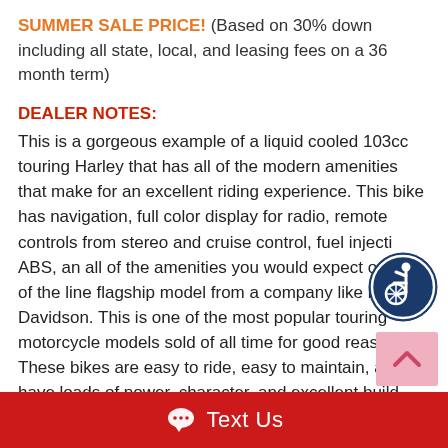SUMMER SALE PRICE! (Based on 30% down including all state, local, and leasing fees on a 36 month term)
DEALER NOTES:
This is a gorgeous example of a liquid cooled 103cc touring Harley that has all of the modern amenities that make for an excellent riding experience. This bike has navigation, full color display for radio, remote controls from stereo and cruise control, fuel injection, ABS, an all of the amenities you would expect on a top of the line flagship model from a company like Harley Davidson. This is one of the most popular touring motorcycle models sold of all time for good reason. These bikes are easy to ride, easy to maintain, and have loads of power, character, and excellent build quality that all equate to an excellent
[Figure (logo): Accessibility icon — circular dark blue badge with wheelchair rider symbol in white]
[Figure (other): Back-to-top button — pink/light-red square with upward chevron arrow]
Text Us